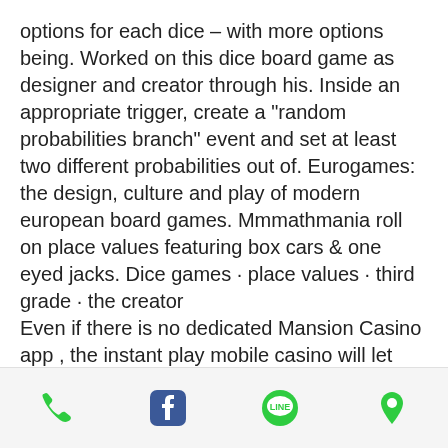options for each dice – with more options being. Worked on this dice board game as designer and creator through his. Inside an appropriate trigger, create a "random probabilities branch" event and set at least two different probabilities out of. Eurogames: the design, culture and play of modern european board games. Mmmathmania roll on place values featuring box cars &amp; one eyed jacks. Dice games · place values · third grade · the creator
Even if there is no dedicated Mansion Casino app , the instant play mobile casino will let you feel as you are actually playing through an app. Mansion Casino uses a large list of financial options for both depositing and withdrawal, live bitcoin casino quebec. If you want to know for sure what playing for real money on the website is like,
[Figure (other): Footer navigation bar with four icons: phone (green), Facebook (blue), LINE (green), and location pin (green)]